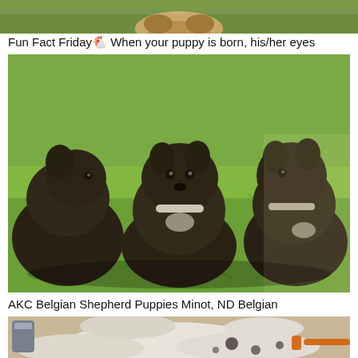[Figure (photo): Top portion of a dog photo, partially cropped at top of page]
Fun Fact Friday🐾 When your puppy is born, his/her eyes
[Figure (photo): Three dark/black fluffy Belgian Shepherd puppies sitting on green grass in sunlight]
AKC Belgian Shepherd Puppies Minot, ND Belgian
[Figure (photo): Bottom portion of dogs lying together, partially cropped, showing white and spotted dogs]